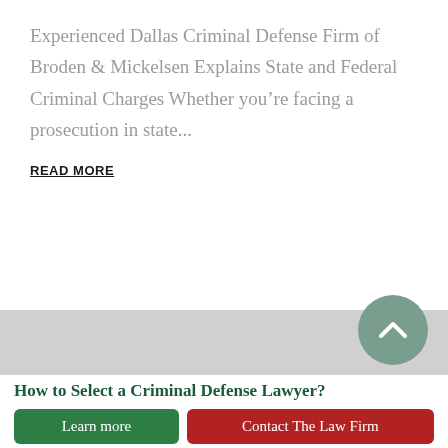Experienced Dallas Criminal Defense Firm of Broden & Mickelsen Explains State and Federal Criminal Charges Whether you're facing a prosecution in state...
READ MORE
How to Select a Criminal Defense Lawyer?
How to Select a Criminal Defense Lawyer?
Learn more
Contact The Law Firm